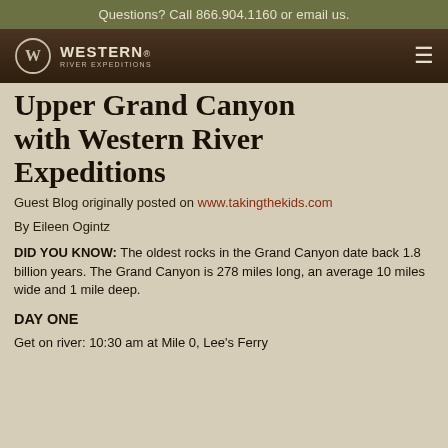Questions? Call 866.904.1160 or email us.
[Figure (logo): Western River Expeditions logo with circular W emblem and hamburger menu icon on dark brown background]
Upper Grand Canyon with Western River Expeditions
Guest Blog originally posted on www.takingthekids.com
By Eileen Ogintz
DID YOU KNOW: The oldest rocks in the Grand Canyon date back 1.8 billion years. The Grand Canyon is 278 miles long, an average 10 miles wide and 1 mile deep.
DAY ONE
Get on river: 10:30 am at Mile 0, Lee's Ferry